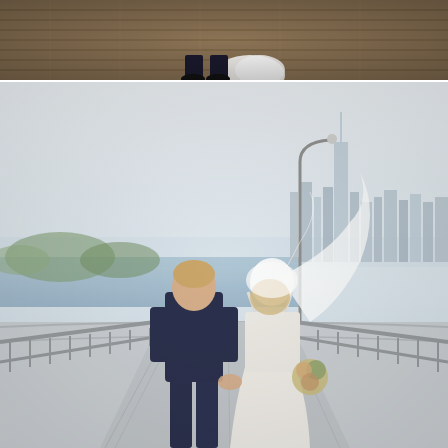[Figure (photo): Top portion of a wedding photo showing feet/lower body of a bride in white dress and groom in dark suit, standing on a wooden deck/pier.]
[Figure (photo): Main wedding photo showing a bride and groom from behind, walking hand-in-hand on a bridge/walkway with metal railings. The bride wears a white backless gown with a flowing veil and holds a bouquet. The groom wears a dark navy suit. In the background is a city skyline (New York City), a body of water, trees, and a street lamp. The image has a soft, film-like quality.]